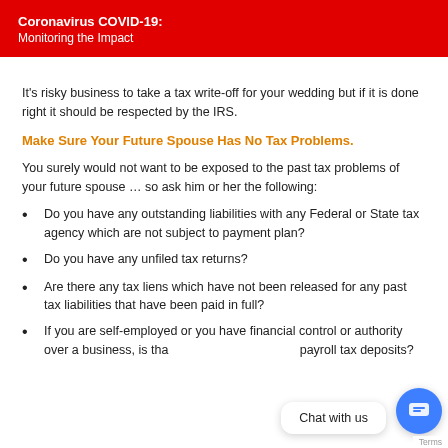Coronavirus COVID-19:
Monitoring the Impact
It's risky business to take a tax write-off for your wedding but if it is done right it should be respected by the IRS.
Make Sure Your Future Spouse Has No Tax Problems.
You surely would not want to be exposed to the past tax problems of your future spouse … so ask him or her the following:
Do you have any outstanding liabilities with any Federal or State tax agency which are not subject to payment plan?
Do you have any unfiled tax returns?
Are there any tax liens which have not been released for any past tax liabilities that have been paid in full?
If you are self-employed or you have financial control or authority over a business, is that business current in its payroll tax deposits?